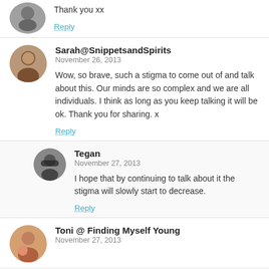Thank you xx
Reply
Sarah@SnippetsandSpirits
November 26, 2013
Wow, so brave, such a stigma to come out of and talk about this. Our minds are so complex and we are all individuals. I think as long as you keep talking it will be ok. Thank you for sharing. x
Reply
Tegan
November 27, 2013
I hope that by continuing to talk about it the stigma will slowly start to decrease.
Reply
Toni @ Finding Myself Young
November 27, 2013